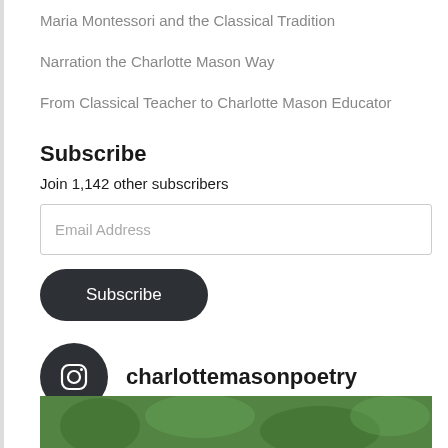Maria Montessori and the Classical Tradition
Narration the Charlotte Mason Way
From Classical Teacher to Charlotte Mason Educator
Subscribe
Join 1,142 other subscribers
Email Address
Subscribe
[Figure (other): Instagram icon circle with camera logo, followed by username charlottemasonpoetry]
[Figure (photo): Green foliage photo strip at bottom of page]